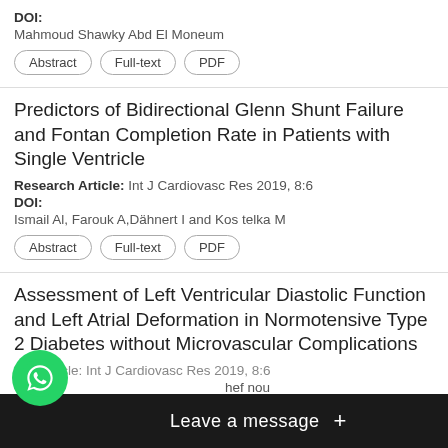DOI:
Mahmoud Shawky Abd El Moneum
Abstract | Full-text | PDF
Predictors of Bidirectional Glenn Shunt Failure and Fontan Completion Rate in Patients with Single Ventricle
Research Article: Int J Cardiovasc Res 2019, 8:6
DOI:
Ismail Al, Farouk A,Dähnert I and Kos telka M
Abstract | Full-text | PDF
Assessment of Left Ventricular Diastolic Function and Left Atrial Deformation in Normotensive Type 2 Diabetes without Microvascular Complications
Research Article: Int J Cardiovasc Res 2019, 8:6
Wafa...